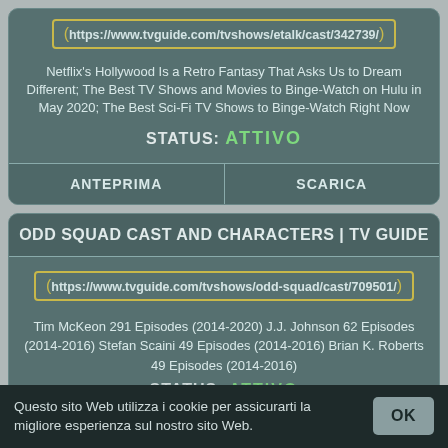https://www.tvguide.com/tvshows/etalk/cast/342739/
Netflix's Hollywood Is a Retro Fantasy That Asks Us to Dream Different; The Best TV Shows and Movies to Binge-Watch on Hulu in May 2020; The Best Sci-Fi TV Shows to Binge-Watch Right Now
STATUS: ATTIVO
ANTEPRIMA
SCARICA
ODD SQUAD CAST AND CHARACTERS | TV GUIDE
https://www.tvguide.com/tvshows/odd-squad/cast/709501/
Tim McKeon 291 Episodes (2014-2020) J.J. Johnson 62 Episodes (2014-2016) Stefan Scaini 49 Episodes (2014-2016) Brian K. Roberts 49 Episodes (2014-2016)
STATUS: ATTIVO
Questo sito Web utilizza i cookie per assicurarti la migliore esperienza sul nostro sito Web.